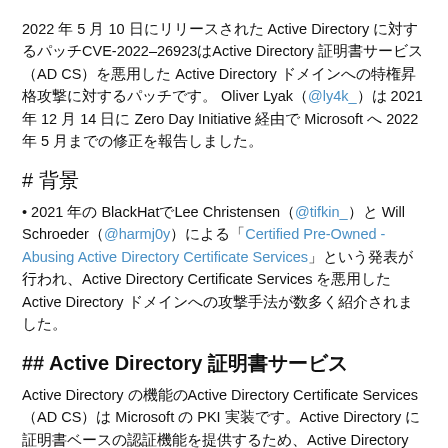2022 年 5 月 10 日にリリースされた Active Directory に対するパッチCVE-2022–26923はActive Directory 証明書サービス（AD CS）を悪用した Active Directory ドメインへの特権昇格攻撃に対するパッチです。 Oliver Lyak（@ly4k_）は 2021 年 12 月 14 日に Zero Day Initiative 経由で Microsoft へ 2022 年 5 月までの修正を報告しました。
# 背景
• 2021 年の BlackHatでLee Christensen（@tifkin_）と Will Schroeder（@harmj0y）による「Certified Pre-Owned - Abusing Active Directory Certificate Services」という発表が行われ、Active Directory Certificate Services を悪用した Active Directory ドメインへの攻撃手法が数多く紹介されました。
## Active Directory 証明書サービス
Active Directory の機能のActive Directory Certificate Services（AD CS）は Microsoft の PKI 実装です。Active Directory に証明書ベースの認証機能を提供するため、Active Directory 内で AD